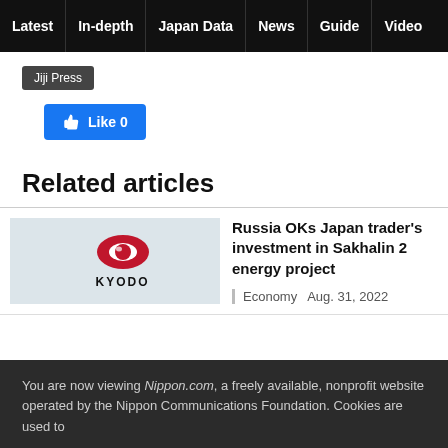Latest | In-depth | Japan Data | News | Guide | Video
Jiji Press
[Figure (other): Facebook Like button showing 0 likes]
Related articles
[Figure (logo): Kyodo News logo — red oval eye symbol above KYODO text]
Russia OKs Japan trader's investment in Sakhalin 2 energy project
Economy   Aug. 31, 2022
You are now viewing Nippon.com, a freely available, nonprofit website operated by the Nippon Communications Foundation. Cookies are used to